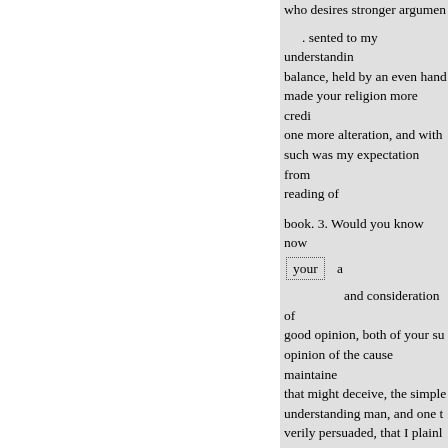who desires stronger argumen  . sented to my understandin balance, held by an even hand made your religion more credi one more alteration, and with such was my expectation from reading of  book. 3. Would you know now your  a  and consideration of good opinion, both of your su opinion of the cause maintaine that might deceive, the simple understanding man, and one t verily persuaded, that I plainl judges, that a vein of sophistry And letting some friends unde would not be either unproper unserviceable to his church, n a maintainer of a faction) if se in particular disputes, repetitio of some supernumerary quota